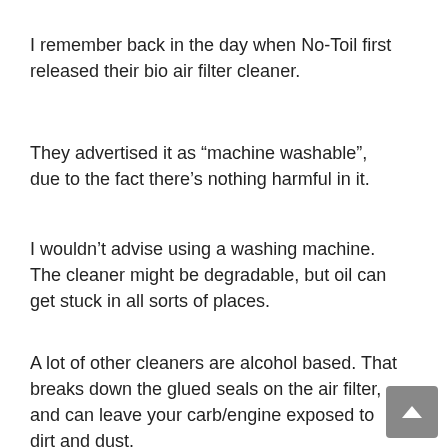I remember back in the day when No-Toil first released their bio air filter cleaner.
They advertised it as “machine washable”, due to the fact there’s nothing harmful in it.
I wouldn’t advise using a washing machine. The cleaner might be degradable, but oil can get stuck in all sorts of places.
A lot of other cleaners are alcohol based. That breaks down the glued seals on the air filter, and can leave your carb/engine exposed to dirt and dust.